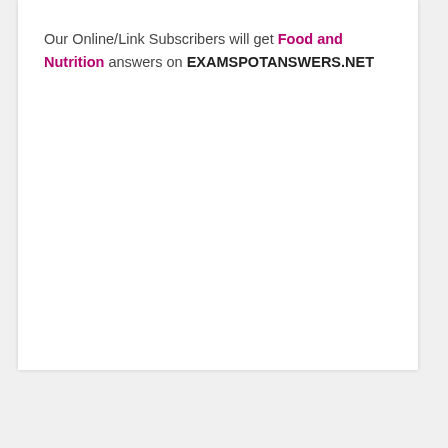Our Online/Link Subscribers will get Food and Nutrition answers on EXAMSPOTANSWERS.NET